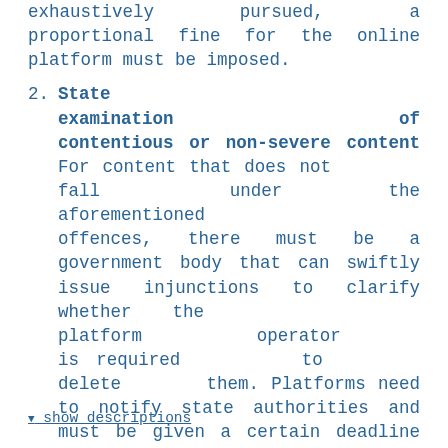exhaustively pursued, a proportional fine for the online platform must be imposed.
2. State examination of contentious or non-severe content For content that does not fall under the aforementioned offences, there must be a government body that can swiftly issue injunctions to clarify whether the platform operator is required to delete them. Platforms need to notify state authorities and must be given a certain deadline to handle cases.
▼ show descriptions